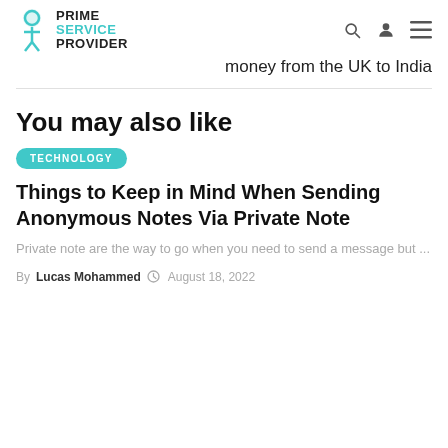PRIME SERVICE PROVIDER
money from the UK to India
You may also like
TECHNOLOGY
Things to Keep in Mind When Sending Anonymous Notes Via Private Note
Private note are the way to go when you need to send a message but ...
By Lucas Mohammed  August 18, 2022